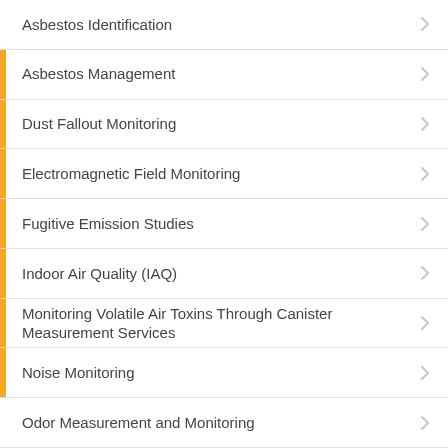Asbestos Identification
Asbestos Management
Dust Fallout Monitoring
Electromagnetic Field Monitoring
Fugitive Emission Studies
Indoor Air Quality (IAQ)
Monitoring Volatile Air Toxins Through Canister Measurement Services
Noise Monitoring
Odor Measurement and Monitoring